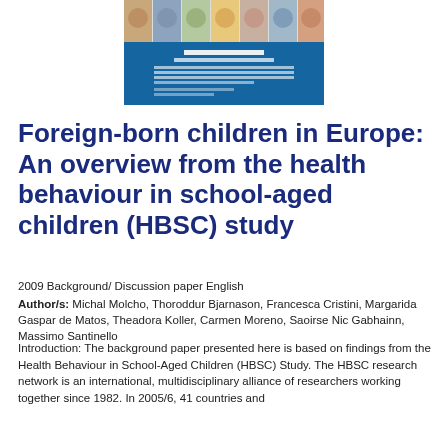[Figure (photo): HBSC report cover image showing a collage of children's faces from diverse backgrounds on a blue background with report title and author text]
Foreign-born children in Europe: An overview from the health behaviour in school-aged children (HBSC) study
2009 Background/ Discussion paper English
Author/s: Michal Molcho, Thoroddur Bjarnason, Francesca Cristini, Margarida Gaspar de Matos, Theadora Koller, Carmen Moreno, Saoirse Nic Gabhainn, Massimo Santinello
Introduction: The background paper presented here is based on findings from the Health Behaviour in School-Aged Children (HBSC) Study. The HBSC research network is an international, multidisciplinary alliance of researchers working together since 1982. In 2005/6, 41 countries and